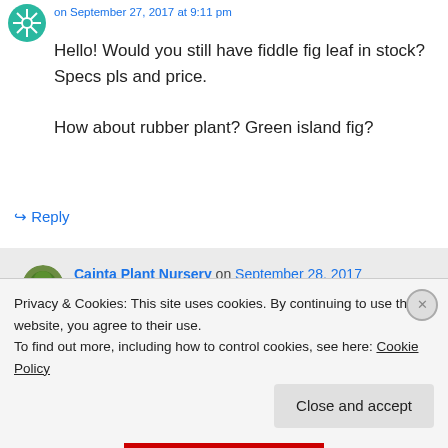[Figure (logo): Teal circular avatar/logo with snowflake-like pattern]
on September 27, 2017 at 9:11 pm
Hello! Would you still have fiddle fig leaf in stock? Specs pls and price.

How about rubber plant? Green island fig?
↪ Reply
[Figure (photo): Round avatar showing a tree/bush photo]
Cainta Plant Nursery on September 28, 2017 at 9:32 am
Hi Marizell...
Privacy & Cookies: This site uses cookies. By continuing to use this website, you agree to their use.
To find out more, including how to control cookies, see here: Cookie Policy
Close and accept